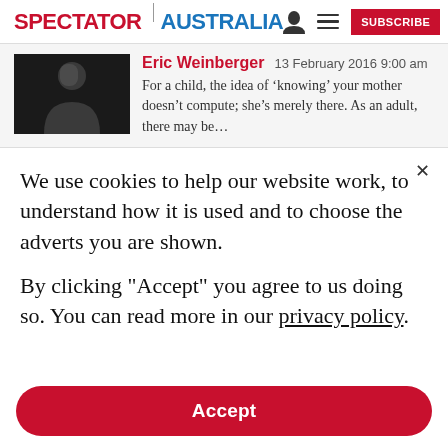SPECTATOR | AUSTRALIA
Eric Weinberger 13 February 2016 9:00 am
For a child, the idea of ‘knowing’ your mother doesn’t compute; she’s merely there. As an adult, there may be…
We use cookies to help our website work, to understand how it is used and to choose the adverts you are shown.

By clicking "Accept" you agree to us doing so. You can read more in our privacy policy.
Accept